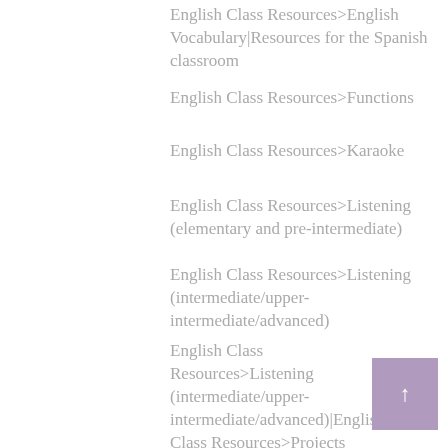English Class Resources>English Vocabulary|Resources for the Spanish classroom
English Class Resources>Functions
English Class Resources>Karaoke
English Class Resources>Listening (elementary and pre-intermediate)
English Class Resources>Listening (intermediate/upper-intermediate/advanced)
English Class Resources>Listening (intermediate/upper-intermediate/advanced)|English Class Resources>Projects (intermediate and upper-intermediate)